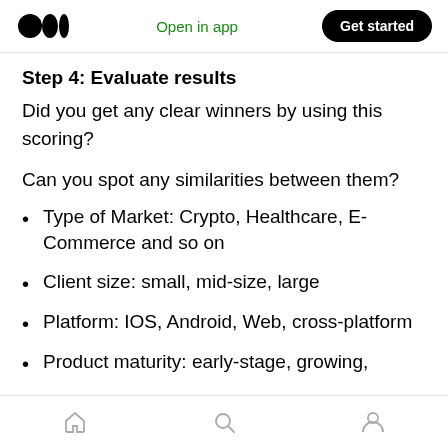Open in app | Get started
Step 4: Evaluate results
Did you get any clear winners by using this scoring?
Can you spot any similarities between them?
Type of Market: Crypto, Healthcare, E-Commerce and so on
Client size: small, mid-size, large
Platform: IOS, Android, Web, cross-platform
Product maturity: early-stage, growing,
Home | Search | Profile